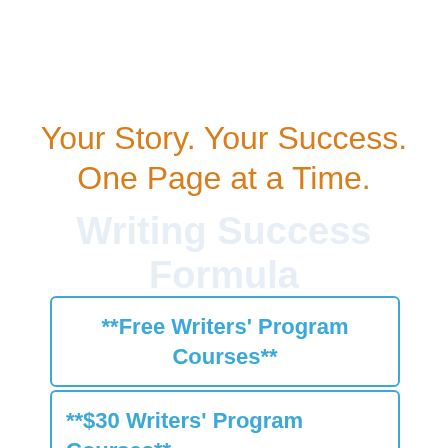Your Story. Your Success. One Page at a Time.
**Free Writers' Program Courses**
**$30 Writers' Program Courses**